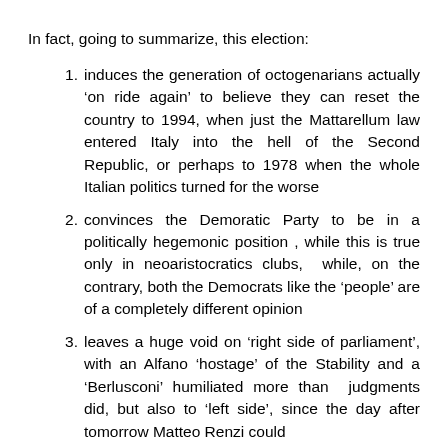In fact, going to summarize, this election:
induces the generation of octogenarians actually ‘on ride again’ to believe they can reset the country to 1994, when just the Mattarellum law entered Italy into the hell of the Second Republic, or perhaps to 1978 when the whole Italian politics turned for the worse
convinces the Demoratic Party to be in a politically hegemonic position , while this is true only in neoaristocratics clubs, while, on the contrary, both the Democrats like the ‘people’ are of a completely different opinion
leaves a huge void on ‘right side of parliament’, with an Alfano ‘hostage’ of the Stability and a ‘Berlusconi’ humiliated more than judgments did, but also to ‘left side’, since the day after tomorrow Matteo Renzi could